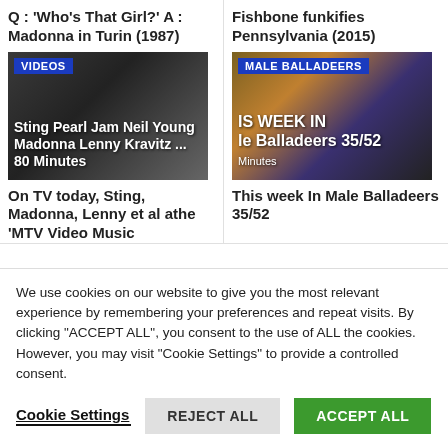Q : 'Who's That Girl?' A : Madonna in Turin (1987)
[Figure (screenshot): Video thumbnail with VIDEOS badge and text: Sting Pearl Jam Neil Young Madonna Lenny Kravitz ... 80 Minutes]
On TV today, Sting, Madonna, Lenny et al athe 'MTV Video Music
Fishbone funkifies Pennsylvania (2015)
[Figure (screenshot): Video thumbnail with MALE BALLADEERS badge and text: THIS WEEK IN Male Balladeers 35/52 Minutes]
This week In Male Balladeers 35/52
We use cookies on our website to give you the most relevant experience by remembering your preferences and repeat visits. By clicking "ACCEPT ALL", you consent to the use of ALL the cookies. However, you may visit "Cookie Settings" to provide a controlled consent.
Cookie Settings   REJECT ALL   ACCEPT ALL